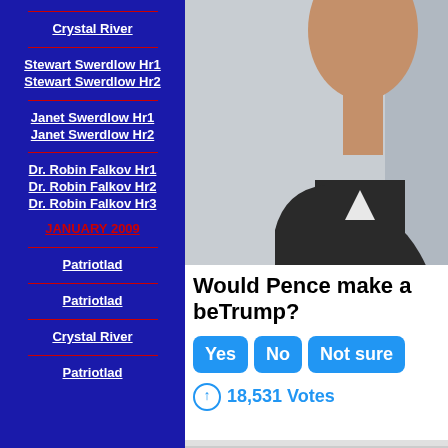Crystal River
Stewart Swerdlow Hr1
Stewart Swerdlow Hr2
Janet Swerdlow Hr1
Janet Swerdlow Hr2
Dr. Robin Falkov Hr1
Dr. Robin Falkov Hr2
Dr. Robin Falkov Hr3
JANUARY 2009
Patriotlad
Patriotlad
Crystal River
Patriotlad
[Figure (photo): Person in dark suit jacket, upper body, gray background]
Would Pence make a better president than Trump?
Yes  No  Not sure
18,531 Votes
[Figure (photo): Interior room photo, partial view with circular element]